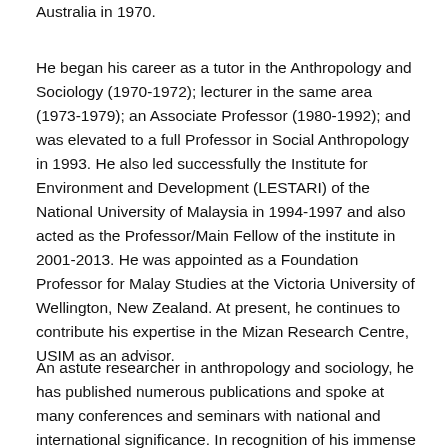Australia in 1970.
He began his career as a tutor in the Anthropology and Sociology (1970-1972); lecturer in the same area (1973-1979); an Associate Professor (1980-1992); and was elevated to a full Professor in Social Anthropology in 1993. He also led successfully the Institute for Environment and Development (LESTARI) of the National University of Malaysia in 1994-1997 and also acted as the Professor/Main Fellow of the institute in 2001-2013. He was appointed as a Foundation Professor for Malay Studies at the Victoria University of Wellington, New Zealand. At present, he continues to contribute his expertise in the Mizan Research Centre, USIM as an advisor.
An astute researcher in anthropology and sociology, he has published numerous publications and spoke at many conferences and seminars with national and international significance. In recognition of his immense contribution, he